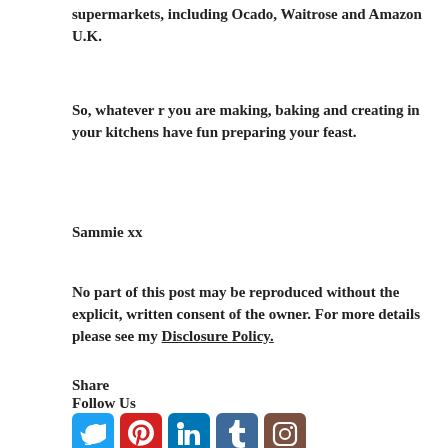supermarkets, including Ocado, Waitrose and Amazon U.K.
So, whatever r you are making, baking and creating in your kitchens have fun preparing your feast.
Sammie xx
No part of this post may be reproduced without the explicit, written consent of the owner. For more details please see my Disclosure Policy.
Share
Follow Us
[Figure (infographic): Social media icons: Twitter (blue), Pinterest (red), LinkedIn (blue), Tumblr (dark blue), Instagram (brown)]